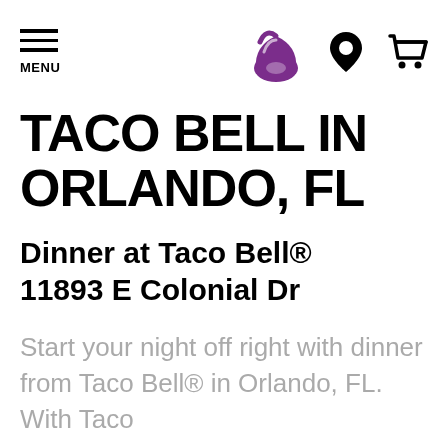[Figure (logo): Taco Bell website header with hamburger menu icon (MENU), Taco Bell logo in purple, location pin icon, and shopping cart icon]
TACO BELL IN ORLANDO, FL
Dinner at Taco Bell® 11893 E Colonial Dr
Start your night off right with dinner from Taco Bell® in Orlando, FL. With Taco